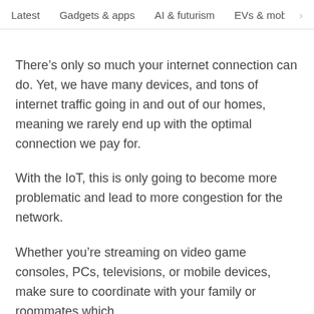Latest   Gadgets & apps   AI & futurism   EVs & mobil  >
There’s only so much your internet connection can do. Yet, we have many devices, and tons of internet traffic going in and out of our homes, meaning we rarely end up with the optimal connection we pay for.
With the IoT, this is only going to become more problematic and lead to more congestion for the network.
Whether you’re streaming on video game consoles, PCs, televisions, or mobile devices, make sure to coordinate with your family or roommates which